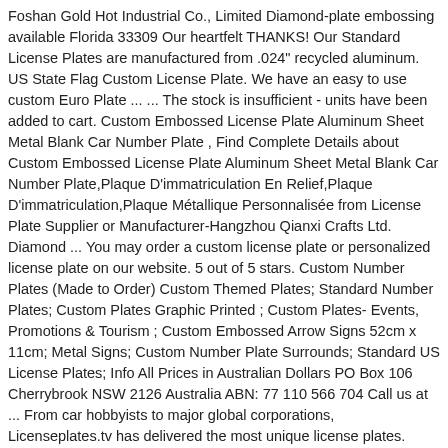Foshan Gold Hot Industrial Co., Limited Diamond-plate embossing available Florida 33309 Our heartfelt THANKS! Our Standard License Plates are manufactured from .024" recycled aluminum. US State Flag Custom License Plate. We have an easy to use custom Euro Plate ... ... The stock is insufficient - units have been added to cart. Custom Embossed License Plate Aluminum Sheet Metal Blank Car Number Plate , Find Complete Details about Custom Embossed License Plate Aluminum Sheet Metal Blank Car Number Plate,Plaque D'immatriculation En Relief,Plaque D'immatriculation,Plaque Métallique Personnalisée from License Plate Supplier or Manufacturer-Hangzhou Qianxi Crafts Ltd. Diamond ... You may order a custom license plate or personalized license plate on our website. 5 out of 5 stars. Custom Number Plates (Made to Order) Custom Themed Plates; Standard Number Plates; Custom Plates Graphic Printed ; Custom Plates- Events, Promotions & Tourism ; Custom Embossed Arrow Signs 52cm x 11cm; Metal Signs; Custom Number Plate Surrounds; Standard US License Plates; Info All Prices in Australian Dollars PO Box 106 Cherrybrook NSW 2126 Australia ABN: 77 110 566 704 Call us at ... From car hobbyists to major global corporations, Licenseplates.tv has delivered the most unique license plates. During the past 16 years, we have dedicated our resources to exceed our customers' expectations. Commissions for mirror license plates and aluminum embossed license plates are also available. With our handy design tool you can create and order a custom license plate in minutes. Add your message...